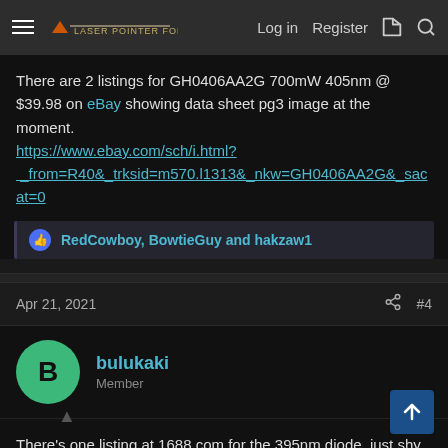Laser Pointer Forums — Log in  Register
There are 2 listings for GH0406AA2G 700mW 405nm @ $39.98 on eBay showing data sheet pg3 image at the moment.
https://www.ebay.com/sch/i.html?_from=R40&_trksid=m570.l1313&_nkw=GH0406AA2G&_sacat=0
RedCowboy, BowtieGuy and hakzaw1
Apr 21, 2021  #4
bulukaki
Member
There's one listing at 1688.com for the 395nm diode, just shy of $80 when converted...